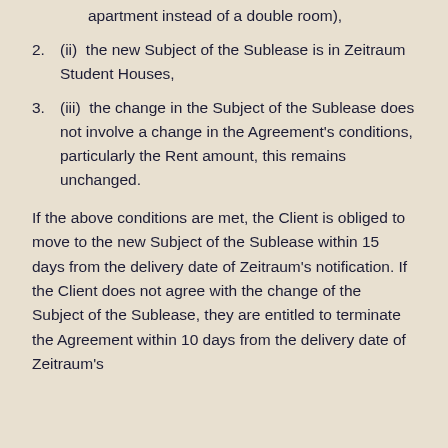apartment instead of a double room),
2. (ii) the new Subject of the Sublease is in Zeitraum Student Houses,
3. (iii) the change in the Subject of the Sublease does not involve a change in the Agreement's conditions, particularly the Rent amount, this remains unchanged.
If the above conditions are met, the Client is obliged to move to the new Subject of the Sublease within 15 days from the delivery date of Zeitraum's notification. If the Client does not agree with the change of the Subject of the Sublease, they are entitled to terminate the Agreement within 10 days from the delivery date of Zeitraum's